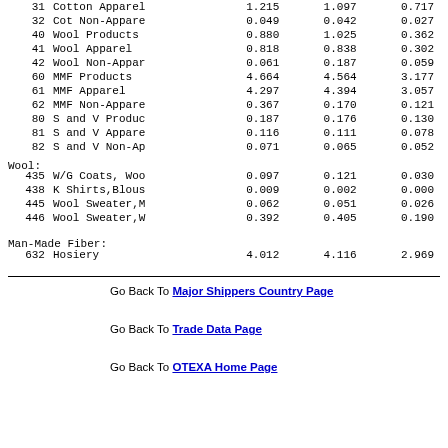| Code | Name | Col1 | Col2 | Col3 |
| --- | --- | --- | --- | --- |
| 31 | Cotton Apparel | 1.215 | 1.097 | 0.717 |
| 32 | Cot Non-Appare | 0.049 | 0.042 | 0.027 |
| 40 | Wool Products | 0.880 | 1.025 | 0.362 |
| 41 | Wool Apparel | 0.818 | 0.838 | 0.302 |
| 42 | Wool Non-Appar | 0.061 | 0.187 | 0.059 |
| 60 | MMF Products | 4.664 | 4.564 | 3.177 |
| 61 | MMF Apparel | 4.297 | 4.394 | 3.057 |
| 62 | MMF Non-Appare | 0.367 | 0.170 | 0.121 |
| 80 | S and V Produc | 0.187 | 0.176 | 0.130 |
| 81 | S and V Appare | 0.116 | 0.111 | 0.078 |
| 82 | S and V Non-Ap | 0.071 | 0.065 | 0.052 |
Wool:
| Code | Name | Col1 | Col2 | Col3 |
| --- | --- | --- | --- | --- |
| 435 | W/G Coats, Woo | 0.097 | 0.121 | 0.030 |
| 438 | K Shirts,Blous | 0.009 | 0.002 | 0.000 |
| 445 | Wool Sweater,M | 0.062 | 0.051 | 0.026 |
| 446 | Wool Sweater,W | 0.392 | 0.405 | 0.190 |
Man-Made Fiber:
| Code | Name | Col1 | Col2 | Col3 |
| --- | --- | --- | --- | --- |
| 632 | Hosiery | 4.012 | 4.116 | 2.969 |
Go Back To Major Shippers Country Page
Go Back To Trade Data Page
Go Back To OTEXA Home Page